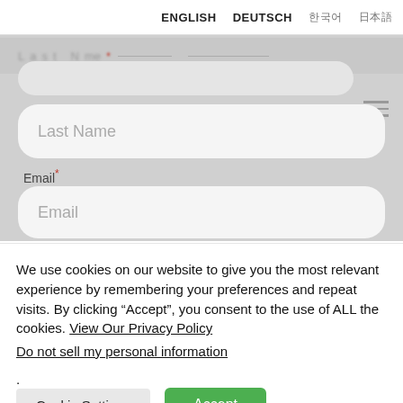ENGLISH   DEUTSCH   한국어   日本語
Last Name
Email *
Email
We use cookies on our website to give you the most relevant experience by remembering your preferences and repeat visits. By clicking “Accept”, you consent to the use of ALL the cookies. View Our Privacy Policy
Do not sell my personal information.
Cookie Settings
Accept
Translate »   Events/Info   Europe